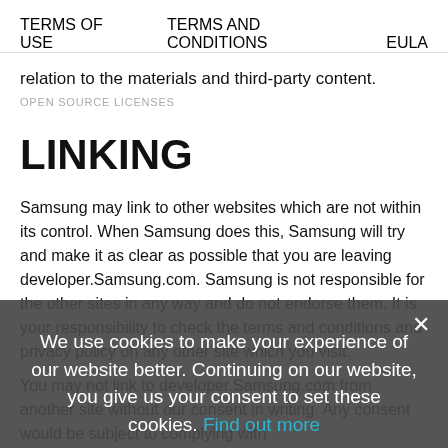TERMS OF USE   TERMS AND CONDITIONS   EULA
relation to the materials and third-party content.
OPEN SOURCE LICENSES
LINKING
Samsung may link to other websites which are not within its control. When Samsung does this, Samsung will try and make it as clear as possible that you are leaving developer.Samsung.com. Samsung is not responsible for the other sites in any way and do not endorse them. It is your responsibility to check the terms and conditions and privacy policy on any other site which you visit.
You may not link to developer.Samsung.com from another site without our consent in writing. Any consent would be subject to complying with
We use cookies to make your experience of our website better. Continuing on our website, you give us your consent to set these cookies. Find out more